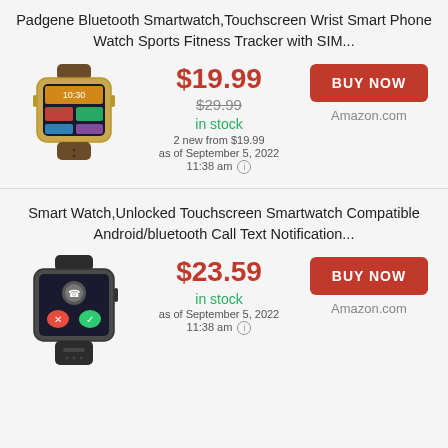Padgene Bluetooth Smartwatch,Touchscreen Wrist Smart Phone Watch Sports Fitness Tracker with SIM...
[Figure (photo): Gold smartwatch with brown leather band and colorful display screen]
$19.99 $29.99 in stock 2 new from $19.99 as of September 5, 2022 11:38 am
BUY NOW Amazon.com
Smart Watch,Unlocked Touchscreen Smartwatch Compatible Android/bluetooth Call Text Notification...
[Figure (photo): Black smartwatch with black band showing phone call interface on screen]
$23.59 in stock as of September 5, 2022 11:38 am
BUY NOW Amazon.com